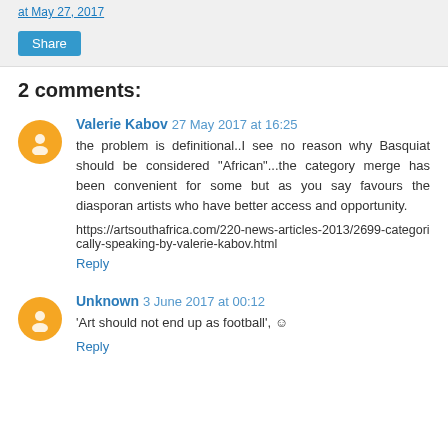at May 27, 2017
Share
2 comments:
Valerie Kabov 27 May 2017 at 16:25
the problem is definitional..I see no reason why Basquiat should be considered "African"...the category merge has been convenient for some but as you say favours the diasporan artists who have better access and opportunity.
https://artsouthafrica.com/220-news-articles-2013/2699-categorically-speaking-by-valerie-kabov.html
Reply
Unknown 3 June 2017 at 00:12
'Art should not end up as football', ☺
Reply